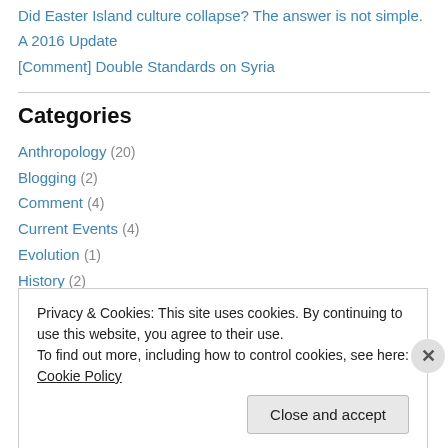Did Easter Island culture collapse? The answer is not simple.
A 2016 Update
[Comment] Double Standards on Syria
Categories
Anthropology (20)
Blogging (2)
Comment (4)
Current Events (4)
Evolution (1)
History (2)
Psychology (7)
Privacy & Cookies: This site uses cookies. By continuing to use this website, you agree to their use. To find out more, including how to control cookies, see here: Cookie Policy
Close and accept